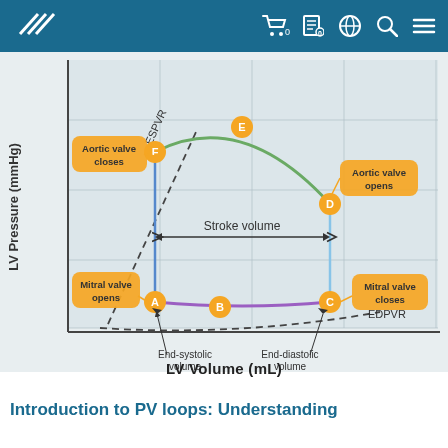Header bar with logo and navigation icons
[Figure (other): Pressure-Volume (PV) loop diagram showing LV Pressure (mmHg) vs LV Volume (mL). The loop includes labeled points A (end-systole after mitral opens), B (mid-diastole), C (end-diastolic volume, mitral valve closes), D (aortic valve opens), E (peak ejection), F (aortic valve closes / end-systolic). Dashed lines show ESPVR (upper left) and EDPVR (lower right). A green arc connects E and D (ejection), a purple arc connects A and C (filling), blue vertical lines at F-A and D-C. Callout labels: Aortic valve closes (at F), Aortic valve opens (at D), Mitral valve opens (at A), Mitral valve closes (at C), End-systolic volume (arrow to A), End-diastolic volume (arrow to C). Stroke volume indicated by horizontal double arrow between F/A and D/C columns.]
LV Volume (mL)
Introduction to PV loops: Understanding